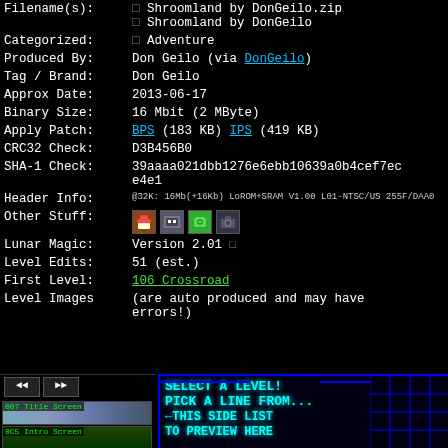| Field | Value |
| --- | --- |
| Filename(s): | □ Shroomland by DonGeilo.zip
□ Shroomland by DonGeilo |
| Categorized: | □ Adventure |
| Produced By: | Don Geilo (via DonGeilo) |
| Tag / Brand: | Don Geilo |
| Approx Date: | 2013-06-17 |
| Binary Size: | 16 Mbit (2 MByte) |
| Apply Patch: | BPS (183 KB) IPS (419 KB) |
| CRC32 Check: | D3B456B0 |
| SHA-1 Check: | 39aaaa021dbb1276e6ebb10639a0b4cef7ece4e1 |
| Header Info: | @32K: 16Mb(+16Kb) LoROM+SRAM V1.00 L01-NTSC/US 255F/DAA0 |
| Other Stuff: | [icons] |
| Lunar Magic: | Version 2.01 □ |
| Level Edits: | 51 (est.) |
| First Level: | 106 Crossroad |
| Level Images | (are auto produced and may have errors!) |
[Figure (screenshot): Level list panel showing 007 Title Screen, 0C5 Intro Screen, 000 Bonus Screen with HOME text, 001 Sandstone Desert thumbnails]
[Figure (screenshot): Level preview panel with cyan text: SELECT A LEVEL! PICK A LINE FROM ←THIS SIDE LIST TO PREVIEW HERE, with blue grid lines on right]